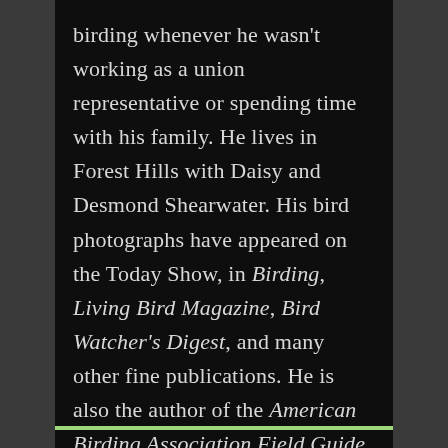birding whenever he wasn't working as a union representative or spending time with his family. He lives in Forest Hills with Daisy and Desmond Shearwater. His bird photographs have appeared on the Today Show, in Birding, Living Bird Magazine, Bird Watcher's Digest, and many other fine publications. He is also the author of the American Birding Association Field Guide to the Birds of New York.